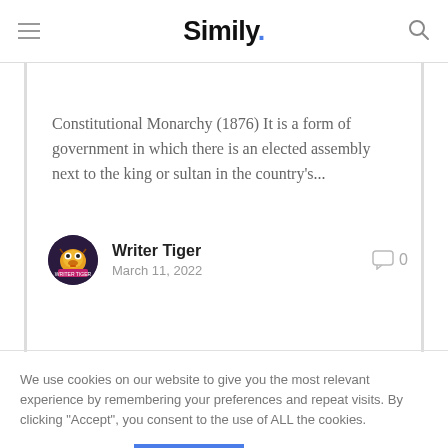Simily.
Constitutional Monarchy (1876) It is a form of government in which there is an elected assembly next to the king or sultan in the country's...
Writer Tiger
March 11, 2022
0
We use cookies on our website to give you the most relevant experience by remembering your preferences and repeat visits. By clicking "Accept", you consent to the use of ALL the cookies.
Cookie settings  ACCEPT